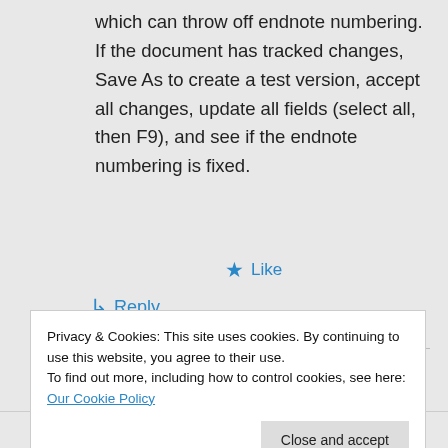which can throw off endnote numbering. If the document has tracked changes, Save As to create a test version, accept all changes, update all fields (select all, then F9), and see if the endnote numbering is fixed.
★ Like
↪ Reply
Privacy & Cookies: This site uses cookies. By continuing to use this website, you agree to their use.
To find out more, including how to control cookies, see here: Our Cookie Policy
Close and accept
★ Like